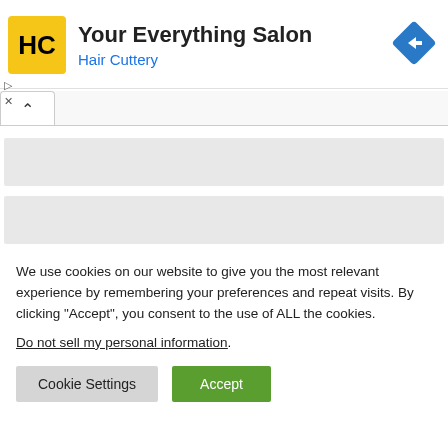[Figure (logo): Hair Cuttery logo: yellow square with HC letters and arrow design, next to text 'Your Everything Salon' and 'Hair Cuttery' in blue, with a blue diamond navigation arrow icon on right]
[Figure (screenshot): Tab/accordion UI element with up chevron, and two gray placeholder content blocks below]
We use cookies on our website to give you the most relevant experience by remembering your preferences and repeat visits. By clicking “Accept”, you consent to the use of ALL the cookies.
Do not sell my personal information.
Cookie Settings
Accept